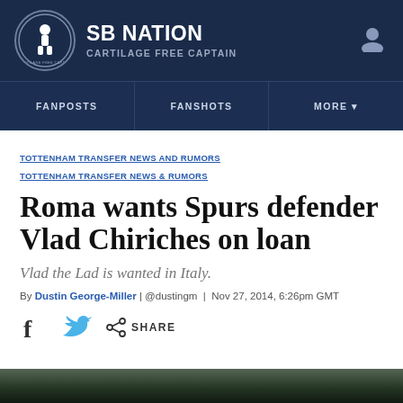SB NATION | CARTILAGE FREE CAPTAIN
FANPOSTS | FANSHOTS | MORE
TOTTENHAM TRANSFER NEWS AND RUMORS
TOTTENHAM TRANSFER NEWS & RUMORS
Roma wants Spurs defender Vlad Chiriches on loan
Vlad the Lad is wanted in Italy.
By Dustin George-Miller | @dustingm | Nov 27, 2014, 6:26pm GMT